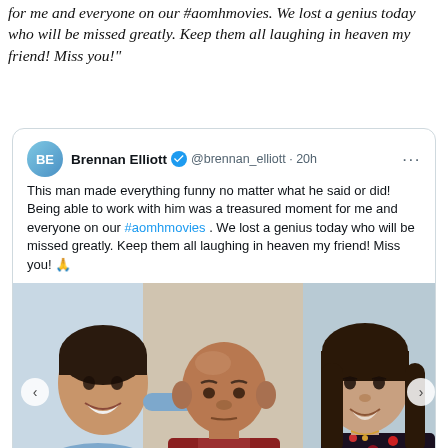for me and everyone on our #aomhmovies. We lost a genius today who will be missed greatly. Keep them all laughing in heaven my friend! Miss you!"
[Figure (screenshot): A Twitter/X post by Brennan Elliott (@brennan_elliott, verified, 20h ago) reading: 'This man made everything funny no matter what he said or did! Being able to work with him was a treasured moment for me and everyone on our #aomhmovies . We lost a genius today who will be missed greatly. Keep them all laughing in heaven my friend! Miss you! 🙏' with an attached photo showing three people: a young man on the left, an elderly bald man in the center wearing a dark red jacket, and a young woman on the right.]